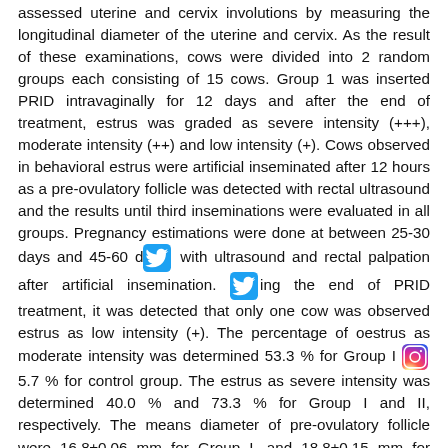assessed uterine and cervix involutions by measuring the longitudinal diameter of the uterine and cervix. As the result of these examinations, cows were divided into 2 random groups each consisting of 15 cows. Group 1 was inserted PRID intravaginally for 12 days and after the end of treatment, estrus was graded as severe intensity (+++), moderate intensity (++) and low intensity (+). Cows observed in behavioral estrus were artificial inseminated after 12 hours as a pre-ovulatory follicle was detected with rectal ultrasound and the results until third inseminations were evaluated in all groups. Pregnancy estimations were done at between 25-30 days and 45-60 d [twitter icon] with ultrasound and rectal palpation after artificial insemination. [twitter icon] ing the end of PRID treatment, it was detected that only one cow was observed estrus as low intensity (+). The percentage of oestrus as moderate intensity was determined 53.3 % for Group I [instagram icon] 5.7 % for control group. The estrus as severe intensity was determined 40.0 % and 73.3 % for Group I and II, respectively. The means diameter of pre-ovulatory follicle were 16.8±0.06 mm for Group I, and 18.8±0.15 mm for Group II. It was found that the intervals between the end of the PRID treatment and time of behavioral estrus were 2.00-10.26 days for Group I. Intervals between the end of treatment and conception were determined as 96.14±6.98 days and 83.33±5.39 days for Group I and II,